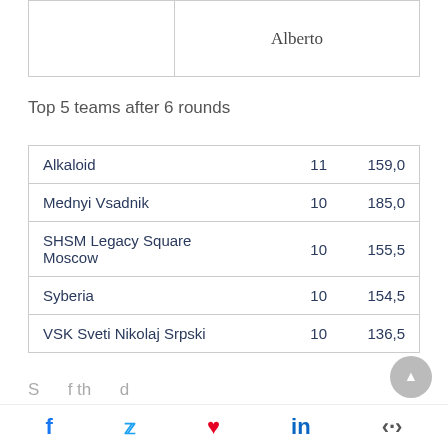| Alberto |
Top 5 teams after 6 rounds
| Alkaloid | 11 | 159,0 |
| Mednyi Vsadnik | 10 | 185,0 |
| SHSM Legacy Square Moscow | 10 | 155,5 |
| Syberia | 10 | 154,5 |
| VSK Sveti Nikolaj Srpski | 10 | 136,5 |
f  (Twitter)  (Pinterest)  in  (share)